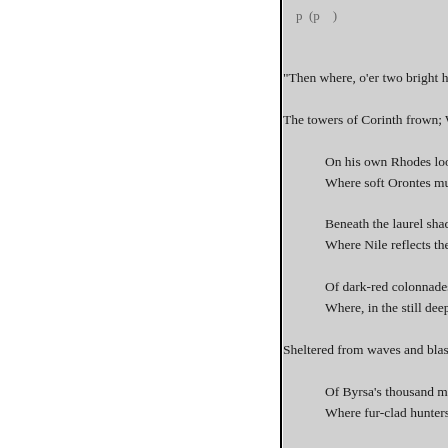"Then where, o'er two bright hav
The towers of Corinth frown; W
    On his own Rhodes looks
    Where soft Orontes murmu
    Beneath the laurel shades
    Where Nile reflects the end
    Of dark-red colonnades;
    Where, in the still deep wat
Sheltered from waves and blasts
    Of Byrsa's thousand masts
    Where fur-clad hunters wan
    Amidst the northern ice;
    Where through the sand of
    The camel bears the spice;
    Where Atlas flings his shad